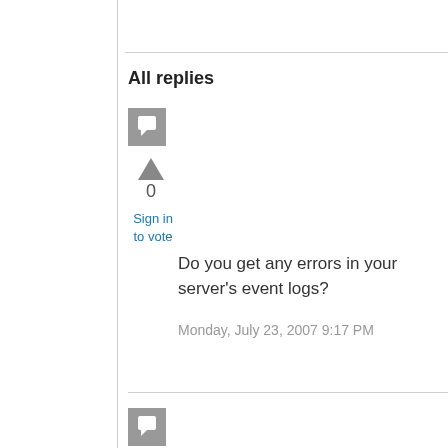All replies
[Figure (illustration): Gray square avatar icon with chat bubble symbol]
0
Sign in to vote
Do you get any errors in your server's event logs?
Monday, July 23, 2007 9:17 PM
[Figure (illustration): Gray square avatar icon with chat bubble symbol (second reply)]